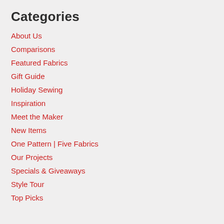Categories
About Us
Comparisons
Featured Fabrics
Gift Guide
Holiday Sewing
Inspiration
Meet the Maker
New Items
One Pattern | Five Fabrics
Our Projects
Specials & Giveaways
Style Tour
Top Picks